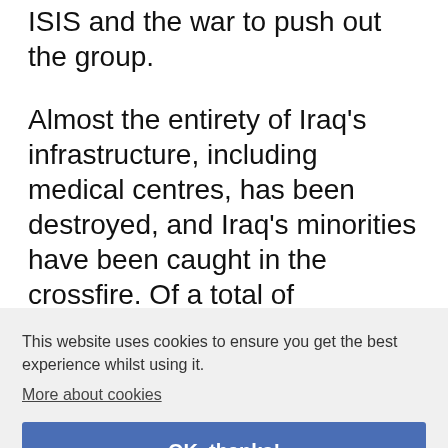ISIS and the war to push out the group.
Almost the entirety of Iraq’s infrastructure, including medical centres, has been destroyed, and Iraq’s minorities have been caught in the crossfire. Of a total of
This website uses cookies to ensure you get the best experience whilst using it.
More about cookies
OK, thanks!
the IDP camps is looking, and health facilities are